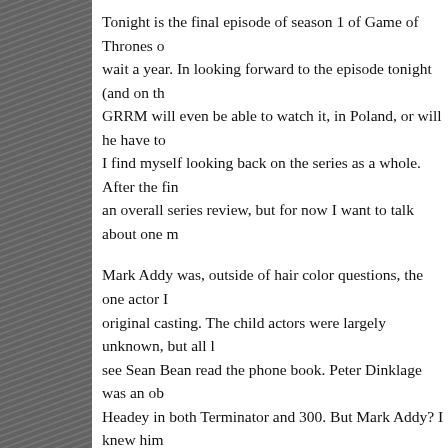Tonight is the final episode of season 1 of Game of Thrones o... wait a year. In looking forward to the episode tonight (and on th... GRRM will even be able to watch it, in Poland, or will he have to... I find myself looking back on the series as a whole. After the fi... an overall series review, but for now I want to talk about one m...
Mark Addy was, outside of hair color questions, the one actor I... original casting. The child actors were largely unknown, but all l... see Sean Bean read the phone book. Peter Dinklage was an ob... Headey in both Terminator and 300. But Mark Addy? I knew him... when Still Standing was my favorite sitcom. But, this was the gu... Knights Tale, The Full Monty, and Friar Tuck in the most recent... was a comedic actor, and he wasn't even tall.
Looking back though, I think he easily did the best acting of the... which is not to say the rest of the cast were slouches, they wer...
His best scenes where when he talked about Lyanna. They're s... from the series. Mark had to portray bawdy drunk, raving mad,... lecherous, and tearfully sad – sometimes all in the same scene... performance of the actors who worked with him. What was Le...